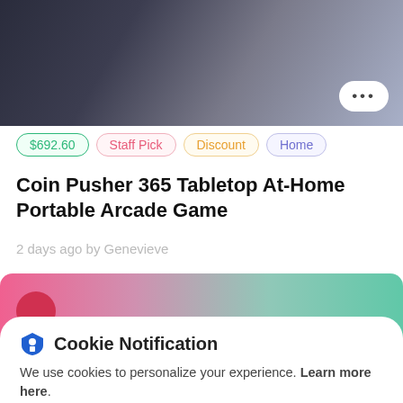[Figure (photo): Product listing page background with arcade game image at top]
$692.60  Staff Pick  Discount  Home
Coin Pusher 365 Tabletop At-Home Portable Arcade Game
2 days ago by Genevieve
[Figure (illustration): Gradient bar from pink to teal with a red circle on the left]
Cookie Notification
We use cookies to personalize your experience. Learn more here.
I Don't Accept
I Accept